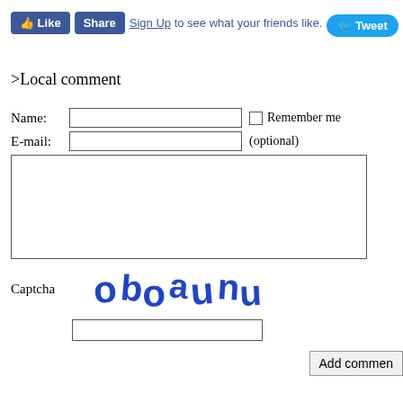[Figure (screenshot): Social media buttons: Like, Share (Facebook style), Sign Up text, Tweet button]
>Local comment
Name: [text input]  [checkbox] Remember me
E-mail: [text input]  (optional)
[textarea]
Captcha  [captcha image: oboaunu]
[captcha input field]
Add comment